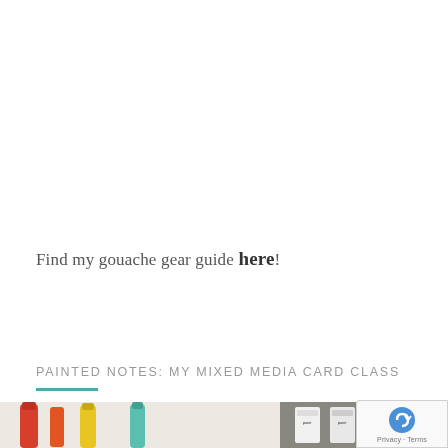Find my gouache gear guide here!
PAINTED NOTES: MY MIXED MEDIA CARD CLASS
[Figure (photo): Partial photo strip showing art supplies including paint tubes and markers in red, yellow, and teal colors on a light background]